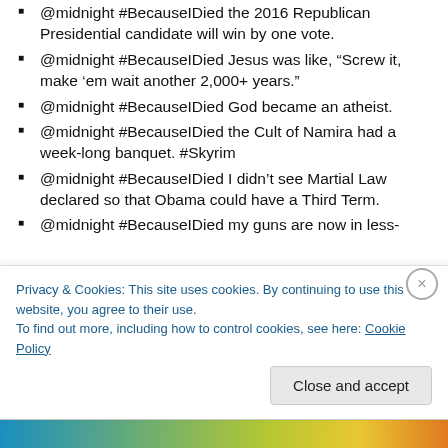@midnight #BecauseIDied the 2016 Republican Presidential candidate will win by one vote.
@midnight #BecauseIDied Jesus was like, “Screw it, make ’em wait another 2,000+ years.”
@midnight #BecauseIDied God became an atheist.
@midnight #BecauseIDied the Cult of Namira had a week-long banquet. #Skyrim
@midnight #BecauseIDied I didn’t see Martial Law declared so that Obama could have a Third Term.
@midnight #BecauseIDied my guns are now in less-
Privacy & Cookies: This site uses cookies. By continuing to use this website, you agree to their use.
To find out more, including how to control cookies, see here: Cookie Policy
Close and accept